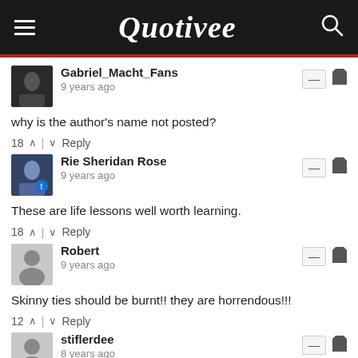Quotivee
Gabriel_Macht_Fans
9 years ago
why is the author's name not posted?
18 ∧ | ∨ Reply
Rie Sheridan Rose
9 years ago
These are life lessons well worth learning.
18 ∧ | ∨ Reply
Robert
9 years ago
Skinny ties should be burnt!! they are horrendous!!!
12 ∧ | ∨ Reply
stiflerdee
8 years ago
his one of the collest guys ever to live he is a role model for sho